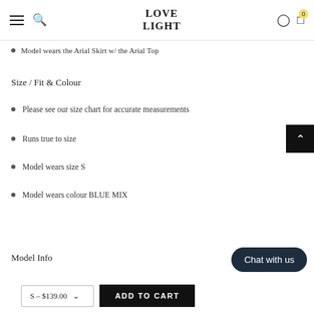LOVE LIGHT
Model wears the Arial Skirt w/ the Arial Top
Size / Fit & Colour
Please see our size chart for accurate measurements
Runs true to size
Model wears size S
Model wears colour BLUE MIX
Model Info
S – $139.00
ADD TO CART
Chat with us